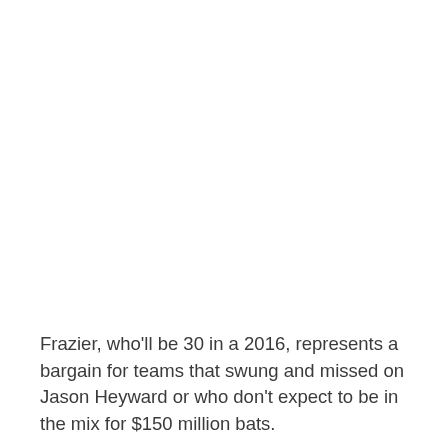Frazier, who'll be 30 in a 2016, represents a bargain for teams that swung and missed on Jason Heyward or who don't expect to be in the mix for $150 million bats.